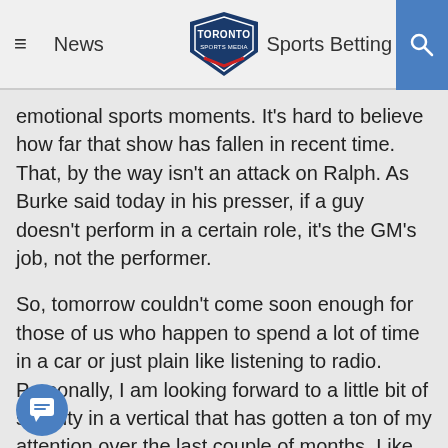News | Toronto Sports Media | Sports Betting
emotional sports moments. It's hard to believe how far that show has fallen in recent time. That, by the way isn't an attack on Ralph. As Burke said today in his presser, if a guy doesn't perform in a certain role, it's the GM's job, not the performer.
So, tomorrow couldn't come soon enough for those of us who happen to spend a lot of time in a car or just plain like listening to radio. Personally, I am looking forward to a little bit of stability in a vertical that has gotten a ton of my attention over the last couple of months. Like an offseason, it will be nice to finally get to talk about shows as opposed to just possibilities and rumours.
What will tomorrow bring?
From the early suggestions, it sounds like there will be a